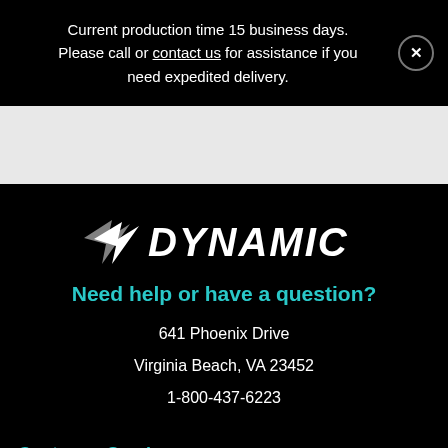Current production time 15 business days. Please call or contact us for assistance if you need expedited delivery.
[Figure (logo): Dynamic brand logo with arrow icon and italic bold text reading DYNAMIC]
Need help or have a question?
641 Phoenix Drive
Virginia Beach, VA 23452
1-800-437-6223
Customer Service
My Cart
My Account